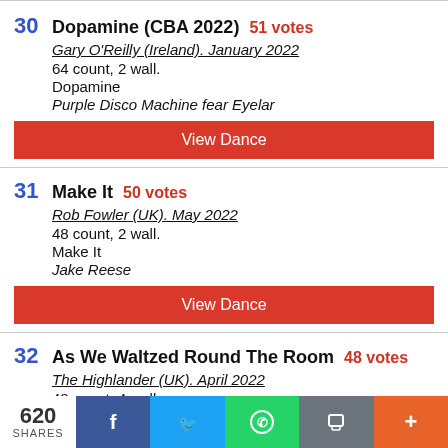30 Dopamine (CBA 2022) 51 votes
Gary O'Reilly (Ireland). January 2022
64 count, 2 wall.
Dopamine
Purple Disco Machine fear Eyelar
View Dance
31 Make It 50 votes
Rob Fowler (UK). May 2022
48 count, 2 wall.
Make It
Jake Reese
View Dance
32 As We Waltzed Round The Room 48 votes
The Highlander (UK). April 2022
48 count, 4 wall.
620 SHARES